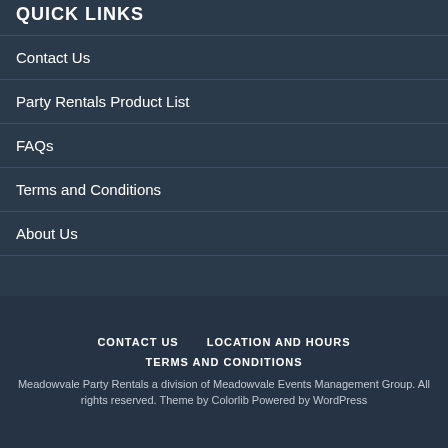QUICK LINKS
Contact Us
Party Rentals Product List
FAQs
Terms and Conditions
About Us
CONTACT US   LOCATION AND HOURS   TERMS AND CONDITIONS   Meadowvale Party Rentals a division of Meadowvale Events Management Group. All rights reserved. Theme by Colorlib Powered by WordPress